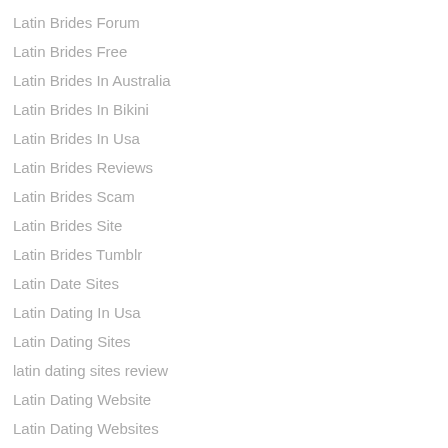Latin Brides Forum
Latin Brides Free
Latin Brides In Australia
Latin Brides In Bikini
Latin Brides In Usa
Latin Brides Reviews
Latin Brides Scam
Latin Brides Site
Latin Brides Tumblr
Latin Date Sites
Latin Dating In Usa
Latin Dating Sites
latin dating sites review
Latin Dating Website
Latin Dating Websites
Latin Free Dating Sites
Latin Girls
Latin Girls For Marriage